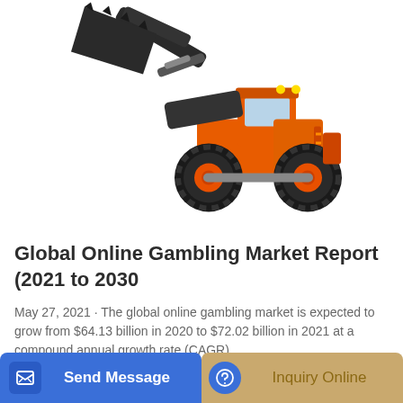[Figure (photo): Orange and black Doosan wheel loader/front-end loader construction vehicle with raised bucket arm, shown on white background]
Global Online Gambling Market Report (2021 to 2030
May 27, 2021 · The global online gambling market is expected to grow from $64.13 billion in 2020 to $72.02 billion in 2021 at a compound annual growth rate (CAGR) ...